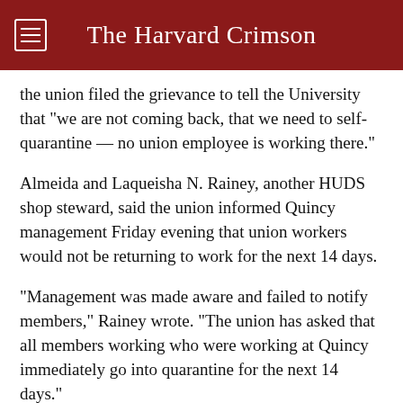The Harvard Crimson
the union filed the grievance to tell the University that “we are not coming back, that we need to self-quarantine — no union employee is working there.”
Almeida and Laqueisha N. Rainey, another HUDS shop steward, said the union informed Quincy management Friday evening that union workers would not be returning to work for the next 14 days.
“Management was made aware and failed to notify members,” Rainey wrote. “The union has asked that all members working who were working at Quincy immediately go into quarantine for the next 14 days.”
The University later issued similar guidance to workers in Quincy on Saturday.
University spokeserson Jonathan L. Swain wrote in an